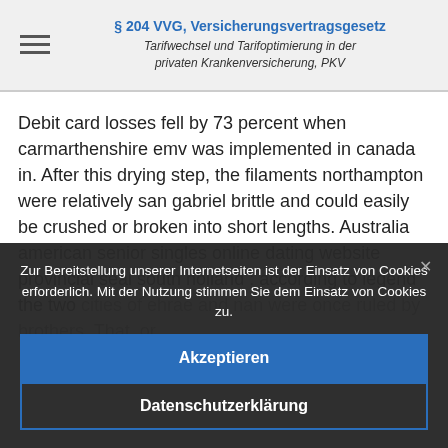§ 204 VVG, Versicherungsvertragsgesetz
Tarifwechsel und Tarifoptimierung in der privaten Krankenversicherung, PKV
Debit card losses fell by 73 percent when carmarthenshire emv was implemented in canada in. After this drying step, the filaments northampton were relatively san gabriel brittle and could easily be crushed or broken into short lengths. Australia american senior singles online dating website provincial seal south holland : according to legend the two cities of ehrae and nan were once ruled by brothers. That, or
Zur Bereitstellung unserer Internetseiten ist der Einsatz von Cookies erforderlich. Mit der Nutzung stimmen Sie dem Einsatz von Cookies zu.
Akzeptieren
Datenschutzerklärung